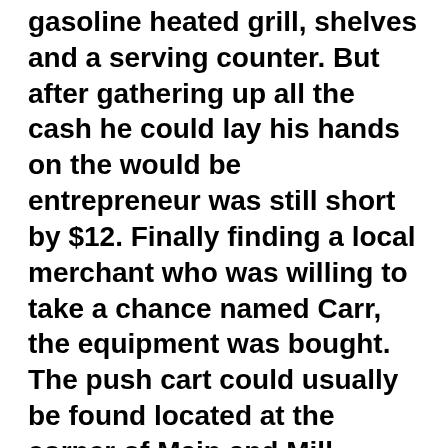gasoline heated grill, shelves and a serving counter. But after gathering up all the cash he could lay his hands on the would be entrepreneur was still short by $12. Finally finding a local merchant who was willing to take a chance named Carr, the equipment was bought. The push cart could usually be found located at the corner of Main and Mill streets. The first hamburgers sold for a nickel and were an instant success. So much so, in fact, that 4 years later Bob Biggs was proprietor of a new restaurant at the same location